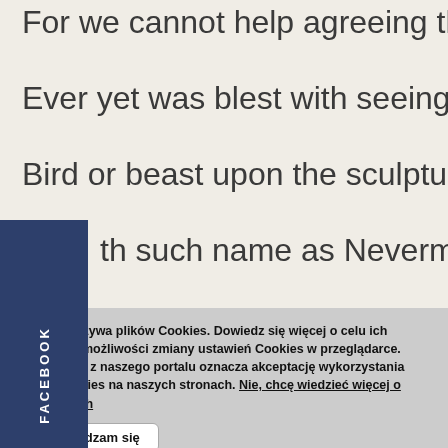For we cannot help agreeing that no living human
Ever yet was blest with seeing bird above his chan
Bird or beast upon the sculptured bust above his c
th such name as Nevermore.
FACEBOOK
t the raven, sitting lonely on the placid bust, spo
at one word, as if his soul in that one word he di
Ta strona używa plików Cookies. Dowiedz się więcej o celu ich używania i możliwości zmiany ustawień Cookies w przeglądarce. Korzystanie z naszego portalu oznacza akceptację wykorzystania plików cookies na naszych stronach. Nie, chcę wiedzieć więcej o ciasteczkach
OK, Zgadzam się